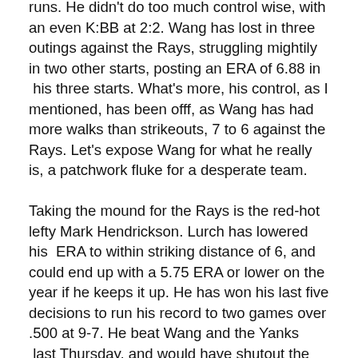runs. He didn't do too much control wise, with an even K:BB at 2:2. Wang has lost in three outings against the Rays, struggling mightily in two other starts, posting an ERA of 6.88 in his three starts. What's more, his control, as I mentioned, has been offf, as Wang has had more walks than strikeouts, 7 to 6 against the Rays. Let's expose Wang for what he really is, a patchwork fluke for a desperate team.

Taking the mound for the Rays is the red-hot lefty Mark Hendrickson. Lurch has lowered his ERA to within striking distance of 6, and could end up with a 5.75 ERA or lower on the year if he keeps it up. He has won his last five decisions to run his record to two games over .500 at 9-7. He beat Wang and the Yanks last Thursday, and would have shutout the Yanks if it weren't for a bad seventh inning in an eventual 7-4 win. Lurch has been a Yankee-killer this season, so he